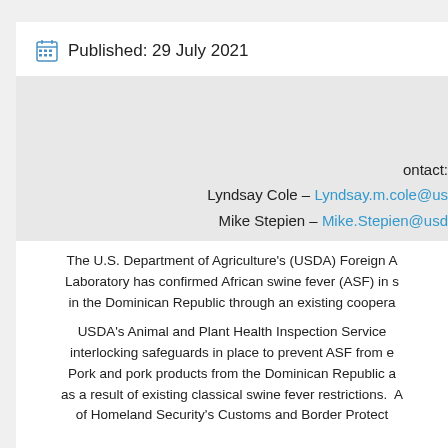Published: 29 July 2021
ontact:
Lyndsay Cole – Lyndsay.m.cole@us...
Mike Stepien – Mike.Stepien@usd...
The U.S. Department of Agriculture's (USDA) Foreign A... Laboratory has confirmed African swine fever (ASF) in s... in the Dominican Republic through an existing coopera...
USDA's Animal and Plant Health Inspection Service ... interlocking safeguards in place to prevent ASF from e... Pork and pork products from the Dominican Republic a... as a result of existing classical swine fever restrictions. A... of Homeland Security's Customs and Border Protect...